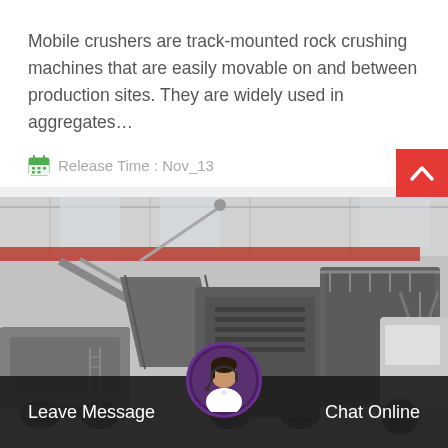Mobile crushers are track-mounted rock crushing machines that are easily movable on and between production sites. They are widely used in aggregates...
Release Time : Nov_13
[Figure (photo): Black and white photograph of a large mobile rock crusher machine in an industrial warehouse/factory setting, mounted on tracks with multiple mechanical components visible.]